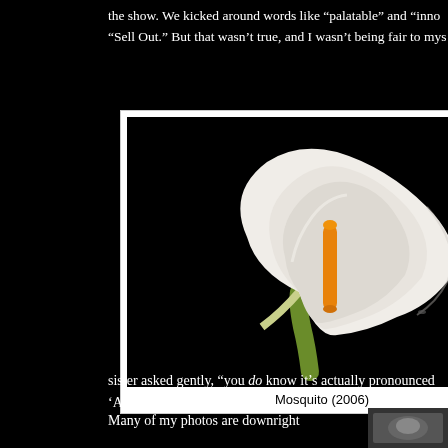the show. We kicked around words like “palatable” and “inno… “Sell Out.” But that wasn’t true, and I wasn’t being fair to mys…
[Figure (photo): A white calla lily flower with an orange spadix against a black background]
Mosquito (2006)
It’s… an… tre… th… w… pu… pu… ph… ha… flo… ep… ce… “A… its… pi… th…
sister asked gently, “you do know it’s actually pronounced ‘Ah…
Many of my photos are downright